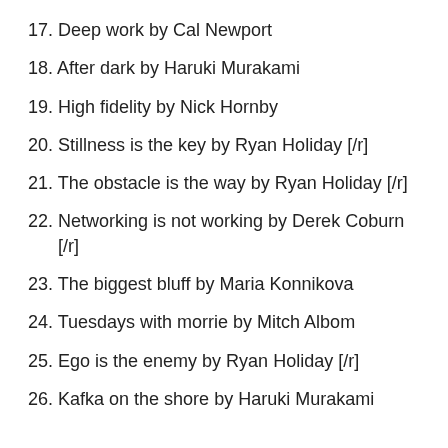17. Deep work by Cal Newport
18. After dark by Haruki Murakami
19. High fidelity by Nick Hornby
20. Stillness is the key by Ryan Holiday [/r]
21. The obstacle is the way by Ryan Holiday [/r]
22. Networking is not working by Derek Coburn [/r]
23. The biggest bluff by Maria Konnikova
24. Tuesdays with morrie by Mitch Albom
25. Ego is the enemy by Ryan Holiday [/r]
26. Kafka on the shore by Haruki Murakami